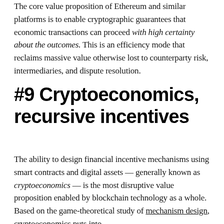The core value proposition of Ethereum and similar platforms is to enable cryptographic guarantees that economic transactions can proceed with high certainty about the outcomes. This is an efficiency mode that reclaims massive value otherwise lost to counterparty risk, intermediaries, and dispute resolution.
#9 Cryptoeconomics, recursive incentives
The ability to design financial incentive mechanisms using smart contracts and digital assets — generally known as cryptoeconomics — is the most disruptive value proposition enabled by blockchain technology as a whole. Based on the game-theoretical study of mechanism design, cryptoeconomics puts into